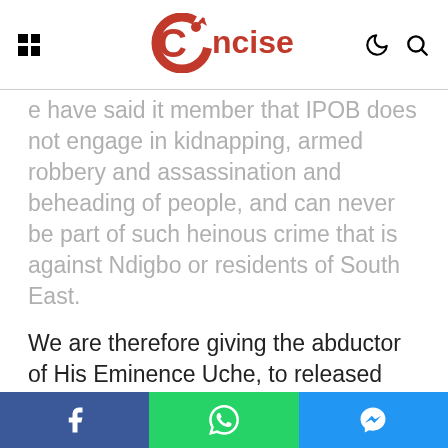Concise (logo header with navigation icons)
e have said it member that IPOB does not engage in kidnapping, armed robbery and assassination and beheading of people, and can never be part of such heinous crime that is against Ndigbo or residents of South East.
We are therefore giving the abductor of His Eminence Uche, to released him without further delay otherwise we will come for them. What they have done is a sacrilege and something that have never been done on Nigeria.
“We are also urging the Abia State government and security agents in South East to facilitate the
Facebook | WhatsApp | Messenger share buttons